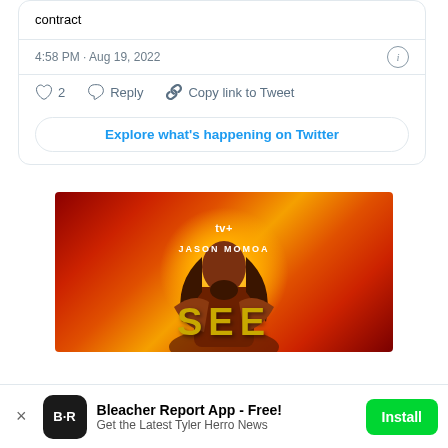contract
4:58 PM · Aug 19, 2022
♡ 2   Reply   Copy link to Tweet
Explore what's happening on Twitter
[Figure (photo): Apple TV+ advertisement showing Jason Momoa for the show SEE, with a fiery red/orange background and glowing effect behind him]
Bleacher Report App - Free!
Get the Latest Tyler Herro News